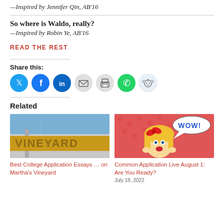—Inspired by Jennifer Qin, AB'16
So where is Waldo, really?
—Inspired by Robin Ye, AB'16
READ THE REST
Share this:
[Figure (infographic): Social share icons: Twitter (blue), Facebook (blue), LinkedIn (dark blue), Email (gray), Print (gray), WhatsApp (green), Reddit (light blue)]
Related
[Figure (photo): Photo of a VINEYARD sign against a blue sky]
Best College Application Essays … on Martha's Vineyard
[Figure (illustration): Comic-style illustration of a blonde girl with a bow looking surprised, with WOW! speech bubble, on pink polka dot background]
Common Application Live August 1: Are You Ready?
July 18, 2022